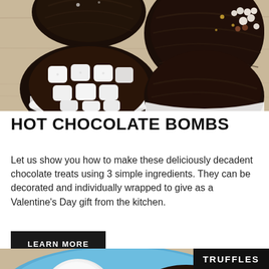[Figure (photo): Overhead photo of dark chocolate hot chocolate bombs on a light wood surface. One bomb is cracked open revealing mini white marshmallows inside. Another sphere is decorated with striped drizzle and pearl sprinkles.]
HOT CHOCOLATE BOMBS
Let us show you how to make these deliciously decadent chocolate treats using 3 simple ingredients. They can be decorated and individually wrapped to give as a Valentine’s Day gift from the kitchen.
LEARN MORE
[Figure (photo): Partial photo of truffles on a blue plate with chocolate chips and a red strawberry, with a black label reading TRUFFLES in the top right corner.]